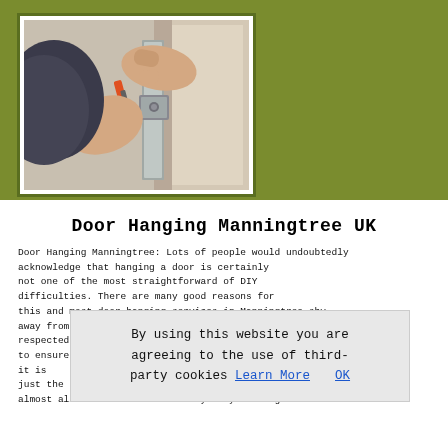[Figure (photo): Person's hands using a tool to work on a door hinge/lock mechanism, installing hardware on a wooden door]
Door Hanging Manningtree UK
Door Hanging Manningtree: Lots of people would undoubtedly acknowledge that hanging a door is certainly not one of the most straightforward of DIY difficulties. There are many good reasons for this and most door hanging services in Manningtree shy away from sharing these reasons. As a respected door hanging company we always try to ensure it is handled properly which means finding just the right individual is rated people who have completed almost all of the hard work for you by sorting out the
By using this website you are agreeing to the use of third-party cookies Learn More  OK